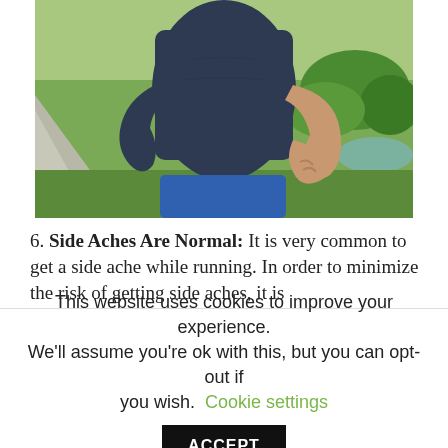[Figure (photo): A runner (torso visible, wearing dark navy t-shirt and blue shorts) standing outdoors on a path, hand placed on their lower back/side suggesting a side ache. Green park background with trees and water visible.]
6. Side Aches Are Normal: It is very common to get a side ache while running. In order to minimize the risk of getting side aches, it is
This website uses cookies to improve your experience. We'll assume you're ok with this, but you can opt-out if you wish. Cookie settings ACCEPT